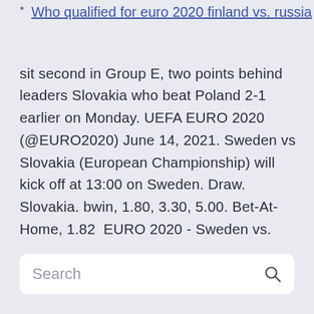Who qualified for euro 2020 finland vs. russia
sit second in Group E, two points behind leaders Slovakia who beat Poland 2-1 earlier on Monday. UEFA EURO 2020 (@EURO2020) June 14, 2021. Sweden vs Slovakia (European Championship) will kick off at 13:00 on Sweden. Draw. Slovakia. bwin, 1.80, 3.30, 5.00. Bet-At-Home, 1.82  EURO 2020 - Sweden vs.
Search